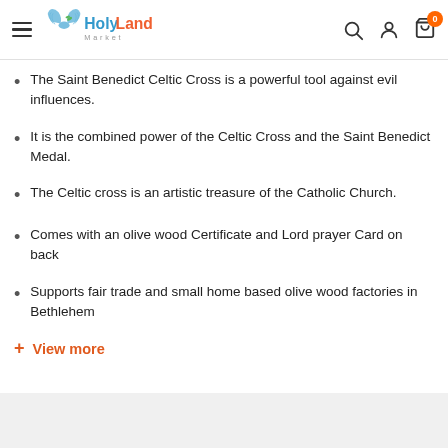HolyLand Market — navigation header with hamburger menu, logo, search, account, and cart icons
The Saint Benedict Celtic Cross is a powerful tool against evil influences.
It is the combined power of the Celtic Cross and the Saint Benedict Medal.
The Celtic cross is an artistic treasure of the Catholic Church.
Comes with an olive wood Certificate and Lord prayer Card on back
Supports fair trade and small home based olive wood factories in Bethlehem
+ View more